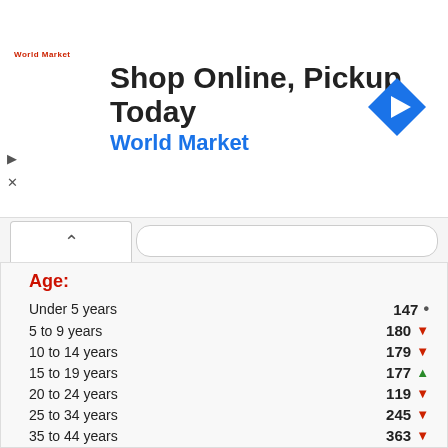[Figure (screenshot): Advertisement banner: 'Shop Online, Pickup Today' with World Market branding and blue diamond navigation icon]
Age:
Under 5 years   147
5 to 9 years    180
10 to 14 years  179
15 to 19 years  177
20 to 24 years  119
25 to 34 years  245
35 to 44 years  363
45 to 54 years  378
55 to 59 years  146
60 to 64 years  178
65 to 74 years  (partial)